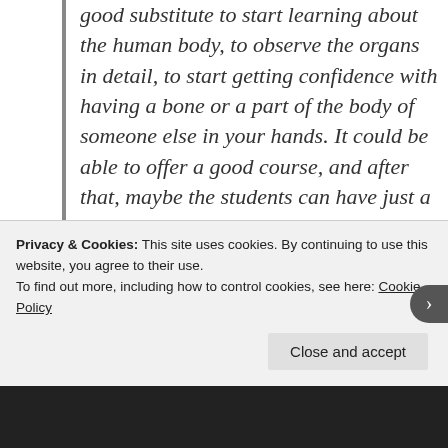good substitute to start learning about the human body, to observe the organs in detail, to start getting confidence with having a bone or a part of the body of someone else in your hands. It could be able to offer a good course, and after that, maybe the students can have just a few final lessons with real corpses in another location. It is a good way of giving value to many medicine universities not only in the US but in the whole world, especially
Privacy & Cookies: This site uses cookies. By continuing to use this website, you agree to their use.
To find out more, including how to control cookies, see here: Cookie Policy
Close and accept